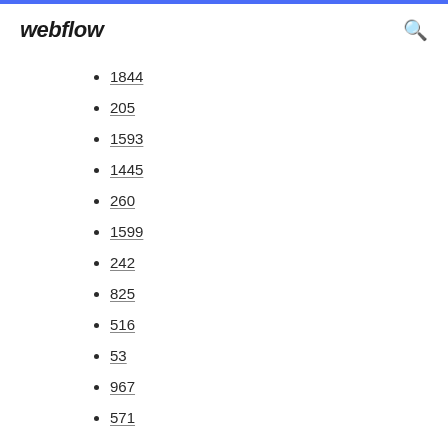webflow
1844
205
1593
1445
260
1599
242
825
516
53
967
571